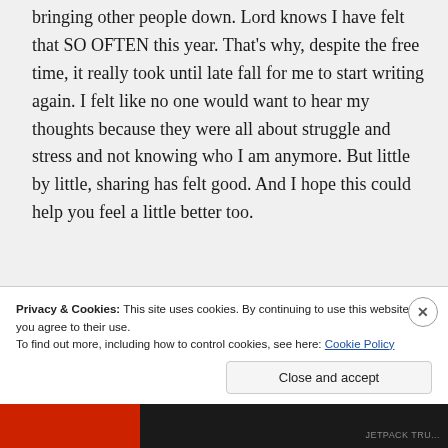bringing other people down. Lord knows I have felt that SO OFTEN this year. That's why, despite the free time, it really took until late fall for me to start writing again. I felt like no one would want to hear my thoughts because they were all about struggle and stress and not knowing who I am anymore. But little by little, sharing has felt good. And I hope this could help you feel a little better too.
Privacy & Cookies: This site uses cookies. By continuing to use this website, you agree to their use. To find out more, including how to control cookies, see here: Cookie Policy
Close and accept